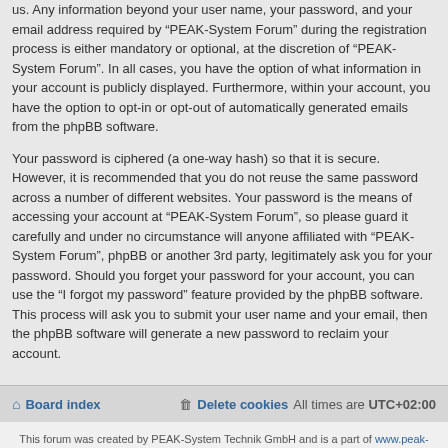us. Any information beyond your user name, your password, and your email address required by “PEAK-System Forum” during the registration process is either mandatory or optional, at the discretion of “PEAK-System Forum”. In all cases, you have the option of what information in your account is publicly displayed. Furthermore, within your account, you have the option to opt-in or opt-out of automatically generated emails from the phpBB software.
Your password is ciphered (a one-way hash) so that it is secure. However, it is recommended that you do not reuse the same password across a number of different websites. Your password is the means of accessing your account at “PEAK-System Forum”, so please guard it carefully and under no circumstance will anyone affiliated with “PEAK-System Forum”, phpBB or another 3rd party, legitimately ask you for your password. Should you forget your password for your account, you can use the “I forgot my password” feature provided by the phpBB software. This process will ask you to submit your user name and your email, then the phpBB software will generate a new password to reclaim your account.
Board index | Delete cookies | All times are UTC+02:00
This forum was created by PEAK-System Technik GmbH and is a part of www.peak-system.com
Imprint · Privacy Policy · General Terms of Business
Powered by phpBB® Forum Software © phpBB Group
Privacy | Terms